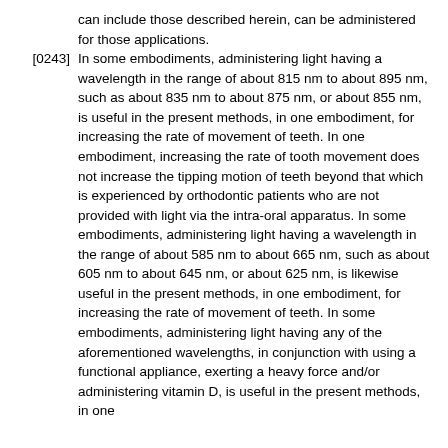can include those described herein, can be administered for those applications.
[0243] In some embodiments, administering light having a wavelength in the range of about 815 nm to about 895 nm, such as about 835 nm to about 875 nm, or about 855 nm, is useful in the present methods, in one embodiment, for increasing the rate of movement of teeth. In one embodiment, increasing the rate of tooth movement does not increase the tipping motion of teeth beyond that which is experienced by orthodontic patients who are not provided with light via the intra-oral apparatus. In some embodiments, administering light having a wavelength in the range of about 585 nm to about 665 nm, such as about 605 nm to about 645 nm, or about 625 nm, is likewise useful in the present methods, in one embodiment, for increasing the rate of movement of teeth. In some embodiments, administering light having any of the aforementioned wavelengths, in conjunction with using a functional appliance, exerting a heavy force and/or administering vitamin D, is useful in the present methods, in one